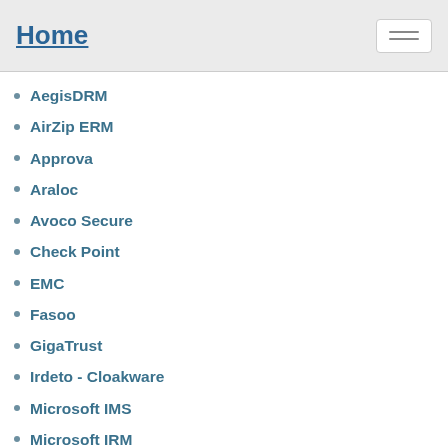Home
AegisDRM
AirZip ERM
Approva
Araloc
Avoco Secure
Check Point
EMC
Fasoo
GigaTrust
Irdeto - Cloakware
Microsoft IMS
Microsoft IRM
OpenText
Oracle IRM